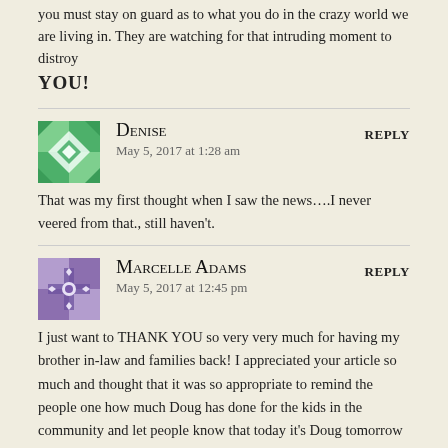you must stay on guard as to what you do in the crazy world we are living in. They are watching for that intruding moment to distroy YOU!
DENISE says:
May 5, 2017 at 1:28 am
That was my first thought when I saw the news….I never veered from that., still haven't.
MARCELLE ADAMS says:
May 5, 2017 at 12:45 pm
I just want to THANK YOU so very very much for having my brother in-law and families back! I appreciated your article so much and thought that it was so appropriate to remind the people one how much Doug has done for the kids in the community and let people know that today it's Doug tomorrow it could be you! People never cease to amaze me. How something so small could get so out of control. So proud of the Overton family they are truly troopers for what they have had to endure! Thank you again and I pray for your continued success in all you do. Hope to one day meet you and give you